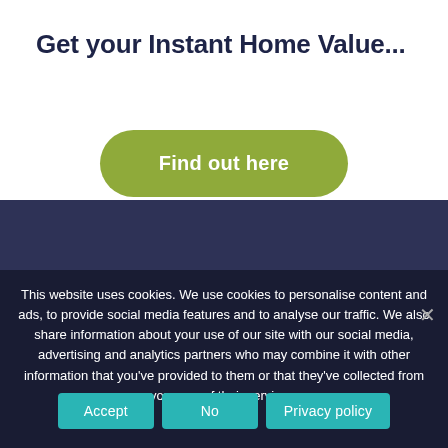Get your Instant Home Value...
Find out here
This website uses cookies. We use cookies to personalise content and ads, to provide social media features and to analyse our traffic. We also share information about your use of our site with our social media, advertising and analytics partners who may combine it with other information that you've provided to them or that they've collected from your use of their services.
Accept
No
Privacy policy